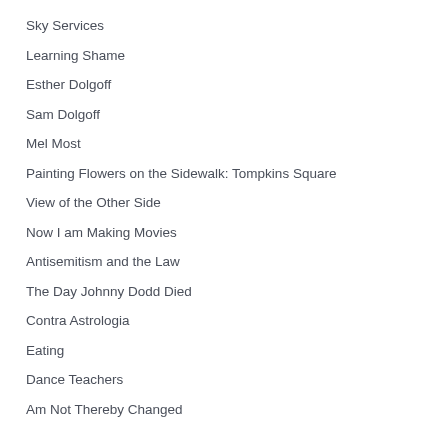Sky Services
Learning Shame
Esther Dolgoff
Sam Dolgoff
Mel Most
Painting Flowers on the Sidewalk: Tompkins Square
View of the Other Side
Now I am Making Movies
Antisemitism and the Law
The Day Johnny Dodd Died
Contra Astrologia
Eating
Dance Teachers
Am Not Thereby Changed